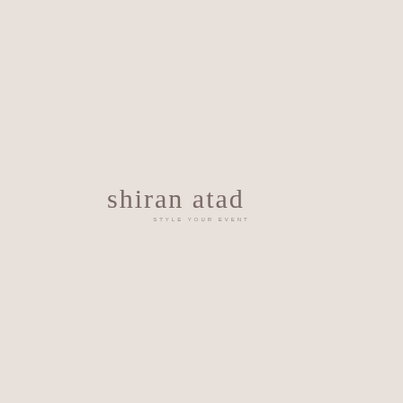[Figure (logo): Shiran Atad logo — script handwriting style text reading 'shiran atad' with tagline 'STYLE YOUR EVENT' in small spaced capitals beneath, on pale blush/rose background]